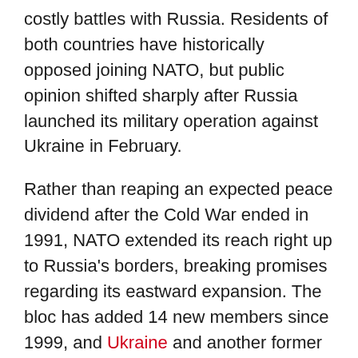costly battles with Russia. Residents of both countries have historically opposed joining NATO, but public opinion shifted sharply after Russia launched its military operation against Ukraine in February.
Rather than reaping an expected peace dividend after the Cold War ended in 1991, NATO extended its reach right up to Russia's borders, breaking promises regarding its eastward expansion. The bloc has added 14 new members since 1999, and Ukraine and another former Soviet republic, Georgia, have sought NATO membership.